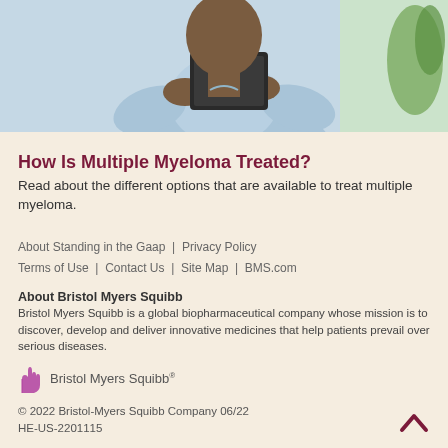[Figure (photo): Man in light blue shirt using a tablet device, cropped at chest level]
How Is Multiple Myeloma Treated?
Read about the different options that are available to treat multiple myeloma.
About Standing in the Gaap  |  Privacy Policy
Terms of Use  |  Contact Us  |  Site Map  |  BMS.com
About Bristol Myers Squibb
Bristol Myers Squibb is a global biopharmaceutical company whose mission is to discover, develop and deliver innovative medicines that help patients prevail over serious diseases.
[Figure (logo): Bristol Myers Squibb logo with hand icon]
© 2022 Bristol-Myers Squibb Company 06/22
HE-US-2201115